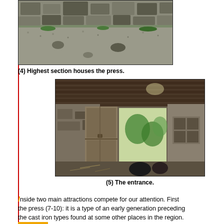[Figure (photo): Outdoor stone ruins with gravel ground and grass visible between stones, showing archaeological remains.]
(4) Highest section houses the press.
[Figure (photo): Interior of a stone building with wooden beam ceiling, old wooden doors, open entrance revealing vegetation outside, with a black bag on the dirt floor.]
(5) The entrance.
Inside two main attractions compete for our attention. First the press (7-10): it is a type of an early generation preceding the cast iron types found at some other places in the region. The head in its entirety runs up and down along two huge screws which are mounted in the floor (6).